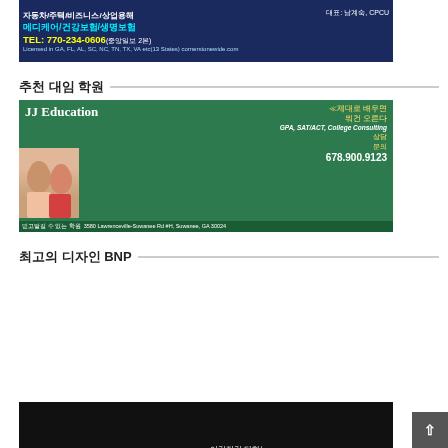[Figure (advertisement): Korean insurance advertisement banner - Cornerstone, Medicare/health/life insurance, TEL: 770-234-0606, cornerstonewide.com]
추천 대임 학원
[Figure (advertisement): JJ Education advertisement - GPA, SAT/ACT, College Consulting, 678.900.9123, 3580 Lawrenceville-Suwanee Rd #H, Suwanee, GA 30024]
최고의 디자인 BNP
[Figure (advertisement): BNP design/printing advertisement - 디자인 퀄리티 프라이스, bannernprint.com, 678-274-7275]